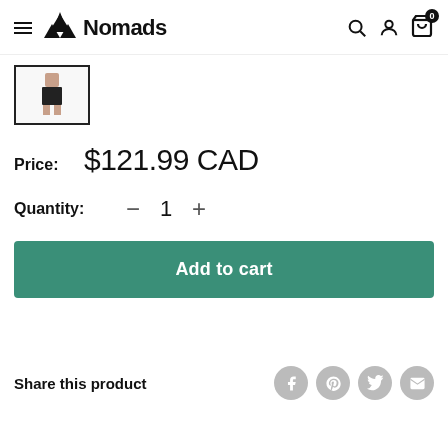Nomads
[Figure (photo): Small thumbnail image of a product (dark shorts/pants on a model), shown in a box with a black border]
Price:  $121.99 CAD
Quantity:  −  1  +
Add to cart
Share this product